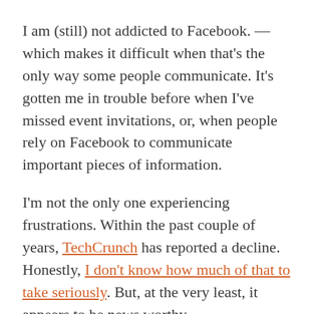I am (still) not addicted to Facebook. —which makes it difficult when that's the only way some people communicate. It's gotten me in trouble before when I've missed event invitations, or, when people rely on Facebook to communicate important pieces of information.
I'm not the only one experiencing frustrations. Within the past couple of years, TechCrunch has reported a decline. Honestly, I don't know how much of that to take seriously. But, at the very least, it appears to be news worthy.